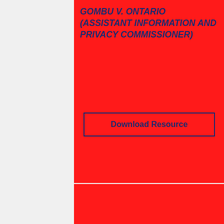GOMBU V. ONTARIO (ASSISTANT INFORMATION AND PRIVACY COMMISSIONER)
Download Resource
2 Bloor Street East, Suite 1400 Toronto, ON M4W 1A8
Privacy Policy
Social Media Policy
Accessibility Policy
Contact Us